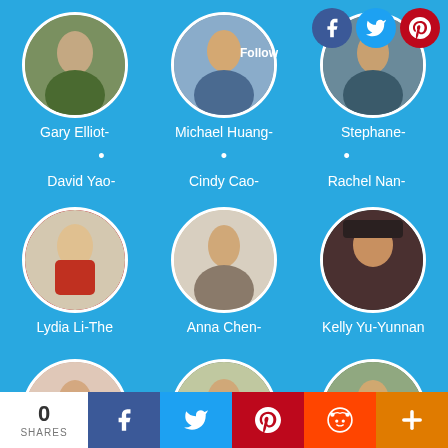[Figure (screenshot): Social media follower/contributor grid on blue background showing profile photos and names: Gary Elliot-, Michael Huang-, Stephane-, David Yao-, Cindy Cao-, Rachel Nan-, Lydia Li-The, Anna Chen-, Kelly Yu-Yunnan, plus three more bottom row avatars. Top right shows Follow button with Facebook, Twitter, Pinterest social icons. Bottom bar: 0 SHARES with Facebook, Twitter, Pinterest, Reddit, and More share buttons.]